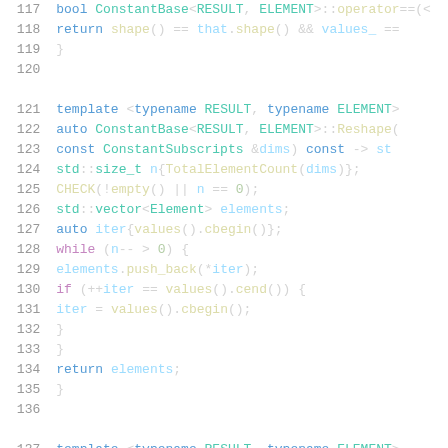[Figure (screenshot): C++ source code snippet showing lines 117-137 with syntax highlighting. Lines include ConstantBase operator==, Reshape method with template declarations, and loop logic using while/if constructs.]